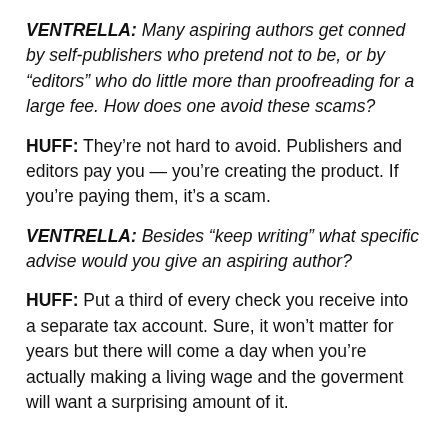VENTRELLA: Many aspiring authors get conned by self-publishers who pretend not to be, or by “editors” who do little more than proofreading for a large fee. How does one avoid these scams?
HUFF: They’re not hard to avoid. Publishers and editors pay you — you’re creating the product. If you’re paying them, it’s a scam.
VENTRELLA: Besides “keep writing” what specific advise would you give an aspiring author?
HUFF: Put a third of every check you receive into a separate tax account. Sure, it won’t matter for years but there will come a day when you’re actually making a living wage and the goverment will want a surprising amount of it.